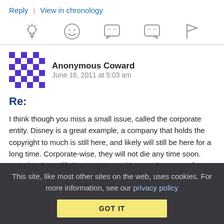Reply | View in chronology
[Figure (infographic): Row of 5 action icons: lightbulb (insightful), laughing face (funny), speech bubble with quote marks (informative), speech bubble with quote marks (informative alt), flag (report)]
[Figure (illustration): Purple/blue pixel avatar for Anonymous Coward]
Anonymous Coward   June 16, 2011 at 5:03 am
Re:
I think though you miss a small issue, called the corporate entity. Disney is a great example, a company that holds the copyright to much is still here, and likely will still be here for a long time. Corporate-wise, they will not die any time soon. Granting them "lifetime" status would mean that none of you could whine about
This site, like most other sites on the web, uses cookies. For more information, see our privacy policy
GOT IT